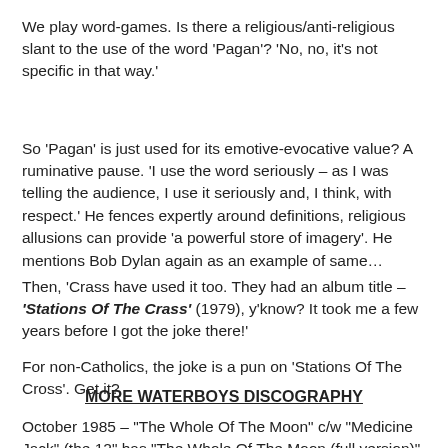We play word-games. Is there a religious/anti-religious slant to the use of the word 'Pagan'? 'No, no, it's not specific in that way.'
So 'Pagan' is just used for its emotive-evocative value? A ruminative pause. 'I use the word seriously – as I was telling the audience, I use it seriously and, I think, with respect.' He fences expertly around definitions, religious allusions can provide 'a powerful store of imagery'. He mentions Bob Dylan again as an example of same…
Then, 'Crass have used it too. They had an album title – 'Stations Of The Crass' (1979), y'know? It took me a few years before I got the joke there!'
For non-Catholics, the joke is a pun on 'Stations Of The Cross'. Get it?
MORE WATERBOYS DISCOGRAPHY
October 1985 – "The Whole Of The Moon" c/w "Medicine Jack" (the 12" has "The Whole Of The Moon (full version)",